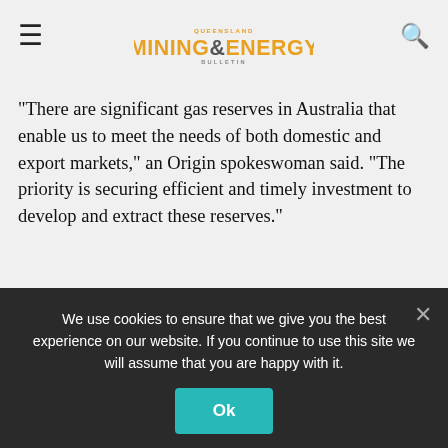Queensland Mining & Energy Bulletin
"There are significant gas reserves in Australia that enable us to meet the needs of both domestic and export markets," an Origin spokeswoman said. "The priority is securing efficient and timely investment to develop and extract these reserves."
A Shell spokesman said discussions on "collaboration opportunities" for the Arrow Energy gas were continuing, with the company examining the "best development option" for its CSG resources in the Bowen and Surat Basins.
The company jointly owned by Shell and
We use cookies to ensure that we give you the best experience on our website. If you continue to use this site we will assume that you are happy with it.